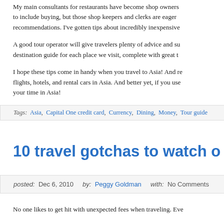My main consultants for restaurants have become shop owners to include buying, but those shop keepers and clerks are eager recommendations. I've gotten tips about incredibly inexpensive
A good tour operator will give travelers plenty of advice and su destination guide for each place we visit, complete with great t
I hope these tips come in handy when you travel to Asia! And re flights, hotels, and rental cars in Asia. And better yet, if you use your time in Asia!
Tags: Asia, Capital One credit card, Currency, Dining, Money, Tour guide
10 travel gotchas to watch o
posted: Dec 6, 2010   by: Peggy Goldman   with: No Comments
No one likes to get hit with unexpected fees when traveling. Eve